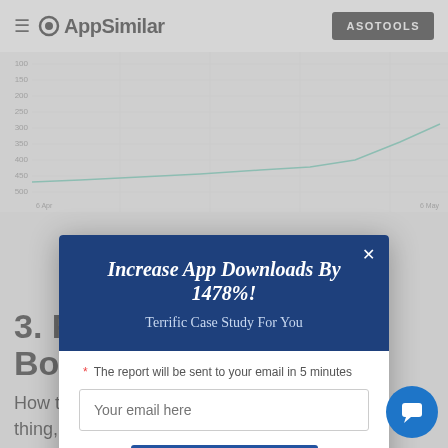AppSimilar — ASOTOOLS
[Figure (continuous-plot): Partial line chart visible behind modal overlay, showing y-axis values and a teal line trend]
[Figure (screenshot): Modal popup: 'Increase App Downloads By 1478%!' with subtitle 'Terrific Case Study For You', email input field 'Your email here', and 'Get Now' button]
3. Fa… or Booth Skinny & Fat
How to evaluate an app is actually a very subjective thing, some people like it, some…